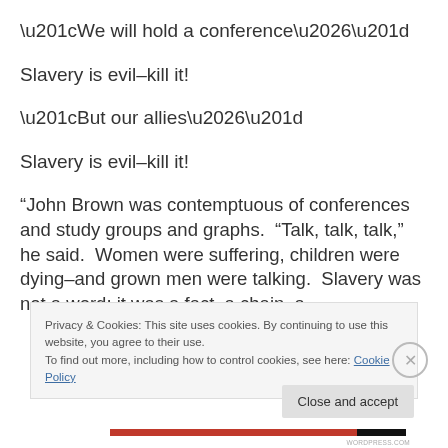“We will hold a conference…”
Slavery is evil–kill it!
“But our allies…”
Slavery is evil–kill it!
“John Brown was contemptuous of conferences and study groups and graphs.  “Talk, talk, talk,” he said.  Women were suffering, children were dying–and grown men were talking.  Slavery was not a word; it was a fact, a chain, a
Privacy & Cookies: This site uses cookies. By continuing to use this website, you agree to their use.
To find out more, including how to control cookies, see here: Cookie Policy
Close and accept